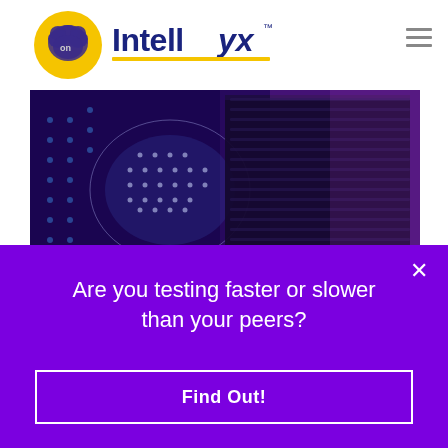[Figure (logo): Intellyx logo with cloud brain icon in yellow circle and blue 'Intellyx' wordmark with yellow underline]
[Figure (photo): Technology circuit board / semiconductor chip photo with blue and purple tones, showing a brain-shaped overlay of dots and grid patterns]
Are you testing faster or slower than your peers?
Find Out!